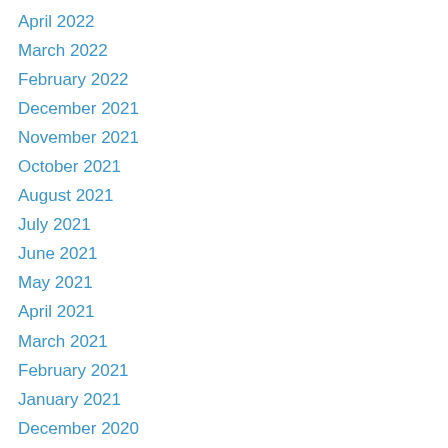April 2022
March 2022
February 2022
December 2021
November 2021
October 2021
August 2021
July 2021
June 2021
May 2021
April 2021
March 2021
February 2021
January 2021
December 2020
November 2020
October 2020
September 2020
August 2020
July 2020